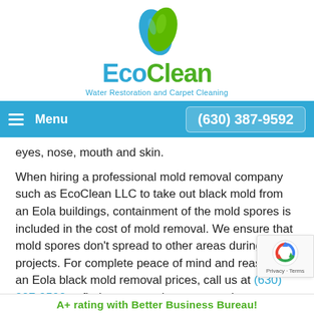[Figure (logo): EcoClean logo with a blue and green leaf above the text 'EcoClean' and tagline 'Water Restoration and Carpet Cleaning']
Menu | (630) 387-9592
eyes, nose, mouth and skin.
When hiring a professional mold removal company such as EcoClean LLC to take out black mold from an Eola buildings, containment of the mold spores is included in the cost of mold removal. We ensure that mold spores don't spread to other areas during our projects. For complete peace of mind and reasonable an Eola black mold removal prices, call us at (630) 387-9592 to find out more about our services.
A+ rating with Better Business Bureau!